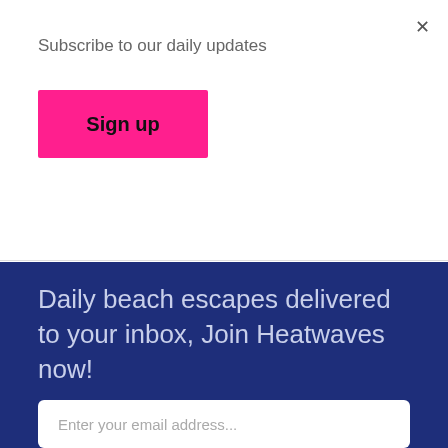Subscribe to our daily updates
Sign up
Daily beach escapes delivered to your inbox, Join Heatwaves now!
Enter your email address...